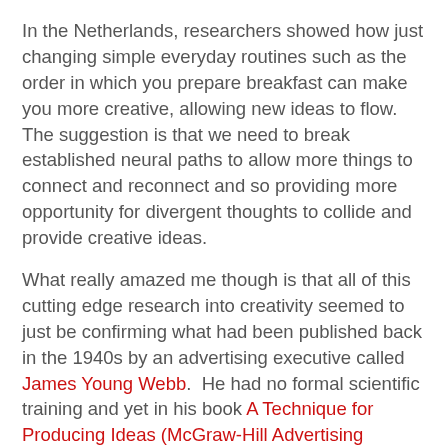In the Netherlands, researchers showed how just changing simple everyday routines such as the order in which you prepare breakfast can make you more creative, allowing new ideas to flow.  The suggestion is that we need to break established neural paths to allow more things to connect and reconnect and so providing more opportunity for divergent thoughts to collide and provide creative ideas.
What really amazed me though is that all of this cutting edge research into creativity seemed to just be confirming what had been published back in the 1940s by an advertising executive called James Young Webb.  He had no formal scientific training and yet in his book A Technique for Producing Ideas (McGraw-Hill Advertising Classic) he basically lays out the steps required for creative thinking, all of which is backed up by modern science.
Step 1 - Gathering of raw materials - For the first step, Webb recommends reviewing materials both for the immediate problem and wider, from general knowledge, adjacent knowledge, etc.  The purpose is really to ensure that you have enough material lodged in the grey matter to